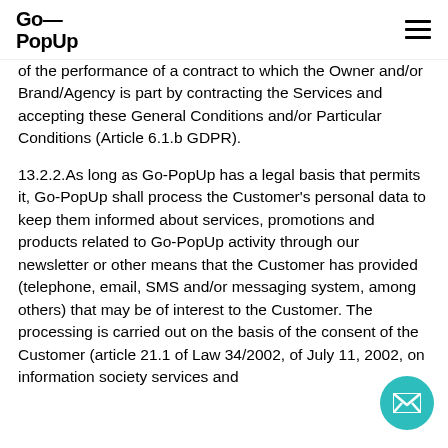Go—PopUp
of the performance of a contract to which the Owner and/or Brand/Agency is part by contracting the Services and accepting these General Conditions and/or Particular Conditions (Article 6.1.b GDPR).
13.2.2.As long as Go-PopUp has a legal basis that permits it, Go-PopUp shall process the Customer's personal data to keep them informed about services, promotions and products related to Go-PopUp activity through our newsletter or other means that the Customer has provided (telephone, email, SMS and/or messaging system, among others) that may be of interest to the Customer. The processing is carried out on the basis of the consent of the Customer (article 21.1 of Law 34/2002, of July 11, 2002, on information society services and